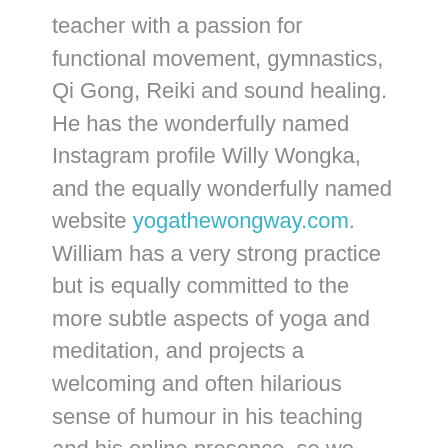teacher with a passion for functional movement, gymnastics, Qi Gong, Reiki and sound healing. He has the wonderfully named Instagram profile Willy Wongka, and the equally wonderfully named website yogathewongway.com. William has a very strong practice but is equally committed to the more subtle aspects of yoga and meditation, and projects a welcoming and often hilarious sense of humour in his teaching and his online presence, so we were very excited to have the chance to speak with him recently.
In this episode, we learn about William's background growing up in Melbourne, how he